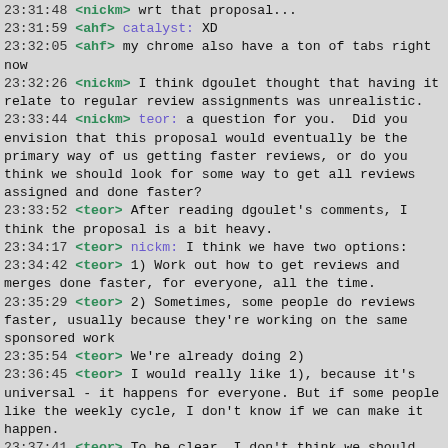23:31:48 <nickm> wrt that proposal...
23:31:59 <ahf> catalyst: XD
23:32:05 <ahf> my chrome also have a ton of tabs right now
23:32:26 <nickm> I think dgoulet thought that having it relate to regular review assignments was unrealistic.
23:33:44 <nickm> teor: a question for you.  Did you envision that this proposal would eventually be the primary way of us getting faster reviews, or do you think we should look for some way to get all reviews assigned and done faster?
23:33:52 <teor> After reading dgoulet's comments, I think the proposal is a bit heavy.
23:34:17 <teor> nickm: I think we have two options:
23:34:42 <teor> 1) Work out how to get reviews and merges done faster, for everyone, all the time.
23:35:29 <teor> 2) Sometimes, some people do reviews faster, usually because they're working on the same sponsored work
23:35:54 <teor> We're already doing 2)
23:36:45 <teor> I would really like 1), because it's universal - it happens for everyone. But if some people like the weekly cycle, I don't know if we can make it happen.
23:37:41 <teor> To be clear, I don't think we should force things to be faster than they need to be. But I think we can cut down on unnecessary delays.
23:37:54 <teor> (done)
23:37:59 <nickm> I think we have some problems to overcome to get to 1), but it would be good if we can